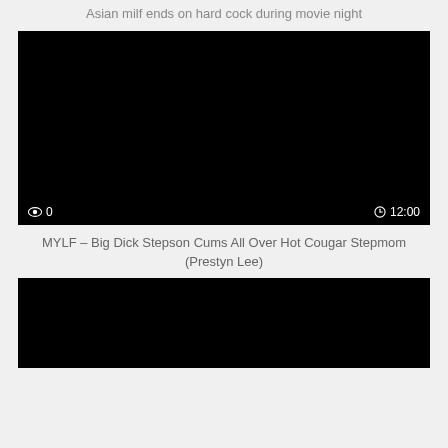Asian milf ends on hard cock during movie night
[Figure (screenshot): Black video thumbnail with view count 0 and duration 12:00]
MYLF – Big Dick Stepson Cums All Over Hot Cougar Stepmom (Prestyn Lee)
[Figure (screenshot): Black video thumbnail, partially visible at bottom of page]